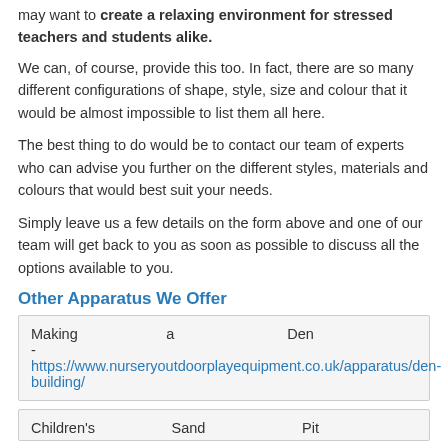may want to create a relaxing environment for stressed teachers and students alike.
We can, of course, provide this too. In fact, there are so many different configurations of shape, style, size and colour that it would be almost impossible to list them all here.
The best thing to do would be to contact our team of experts who can advise you further on the different styles, materials and colours that would best suit your needs.
Simply leave us a few details on the form above and one of our team will get back to you as soon as possible to discuss all the options available to you.
Other Apparatus We Offer
| Making a Den - https://www.nurseryoutdoorplayequipment.co.uk/apparatus/den-building/ |
| Children's Sand Pit |